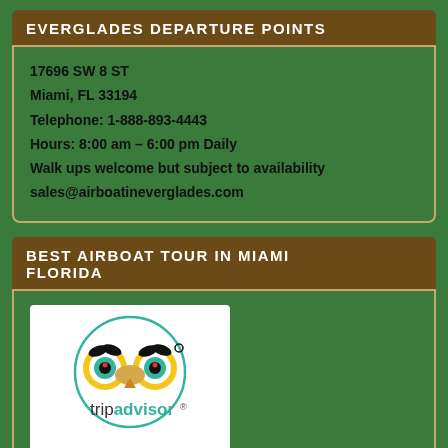EVERGLADES DEPARTURE POINTS
17696 SW 8 ST
Miami, FL 33194
Telephone: 1-888-893-4443
Hours: 8:00 am – 6:00 pm Daily
Walk ups welcome but subject to availability
sales@airboatineverglades.com
BEST AIRBOAT TOUR IN MIAMI FLORIDA
[Figure (logo): TripAdvisor logo with owl icon and 'tripadvisor' text in green and black on white background with circular border]